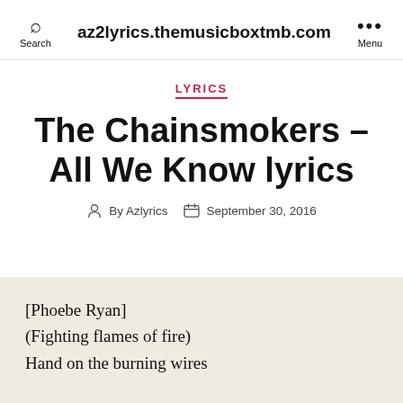Search  az2lyrics.themusicboxtmb.com  Menu
LYRICS
The Chainsmokers – All We Know lyrics
By Azlyrics  September 30, 2016
[Phoebe Ryan]
(Fighting flames of fire)
Hand on the burning wires